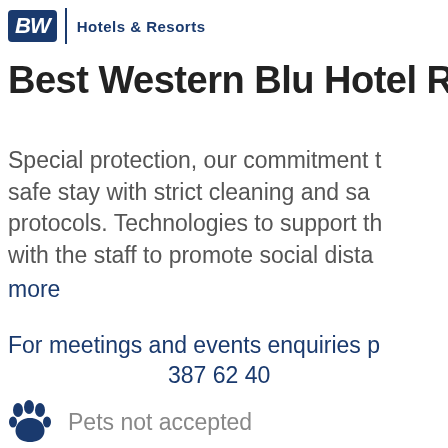[Figure (logo): Best Western Hotels & Resorts logo with BW initials and text]
Best Western Blu Hotel Ro
Special protection, our commitment to a safe stay with strict cleaning and sanitization protocols. Technologies to support the guests with the staff to promote social distancing. more
For meetings and events enquiries p... 387 62 40
Pets not accepted